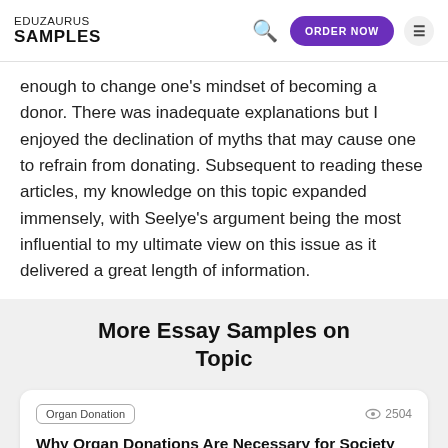EDUZAURUS SAMPLES
enough to change one's mindset of becoming a donor. There was inadequate explanations but I enjoyed the declination of myths that may cause one to refrain from donating. Subsequent to reading these articles, my knowledge on this topic expanded immensely, with Seelye's argument being the most influential to my ultimate view on this issue as it delivered a great length of information.
More Essay Samples on Topic
Organ Donation   👁 2504
Why Organ Donations Are Necessary for Society